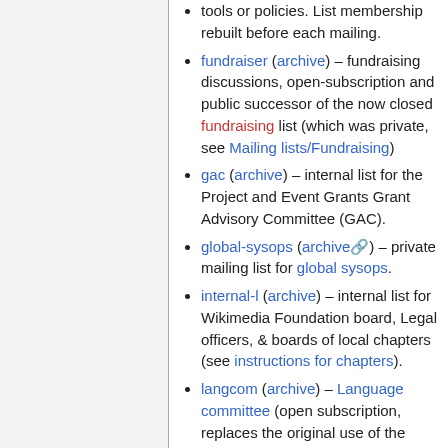tools or policies. List membership rebuilt before each mailing.
fundraiser (archive) – fundraising discussions, open-subscription and public successor of the now closed fundraising list (which was private, see Mailing lists/Fundraising)
gac (archive) – internal list for the Project and Event Grants Grant Advisory Committee (GAC).
global-sysops (archive) – private mailing list for global sysops.
internal-l (archive) – internal list for Wikimedia Foundation board, Legal officers, & boards of local chapters (see instructions for chapters).
langcom (archive) – Language committee (open subscription, replaces the original use of the private langcom-l list)